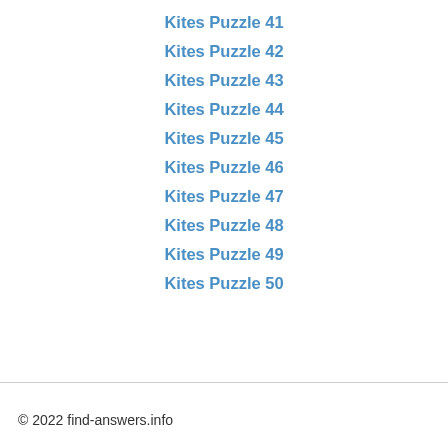Kites Puzzle 41
Kites Puzzle 42
Kites Puzzle 43
Kites Puzzle 44
Kites Puzzle 45
Kites Puzzle 46
Kites Puzzle 47
Kites Puzzle 48
Kites Puzzle 49
Kites Puzzle 50
© 2022 find-answers.info